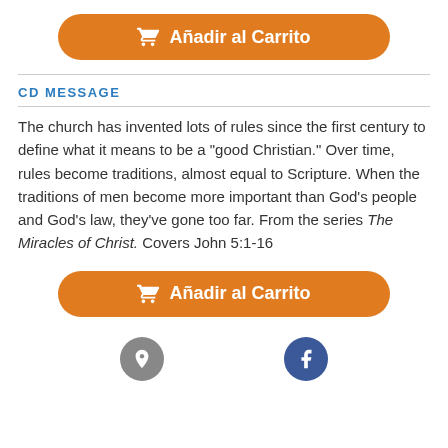[Figure (other): Orange 'Añadir al Carrito' (Add to Cart) button with shopping cart icon at top]
CD MESSAGE
The church has invented lots of rules since the first century to define what it means to be a "good Christian." Over time, rules become traditions, almost equal to Scripture. When the traditions of men become more important than God's people and God's law, they've gone too far. From the series The Miracles of Christ. Covers John 5:1-16
[Figure (other): Orange 'Añadir al Carrito' (Add to Cart) button with shopping cart icon at bottom]
[Figure (other): Social media icons row: gray icon and blue Facebook icon]